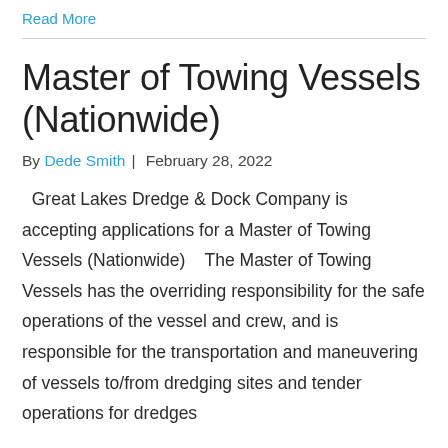Read More
Master of Towing Vessels (Nationwide)
By Dede Smith | February 28, 2022
Great Lakes Dredge & Dock Company is accepting applications for a Master of Towing Vessels (Nationwide)    The Master of Towing Vessels has the overriding responsibility for the safe operations of the vessel and crew, and is responsible for the transportation and maneuvering of vessels to/from dredging sites and tender operations for dredges